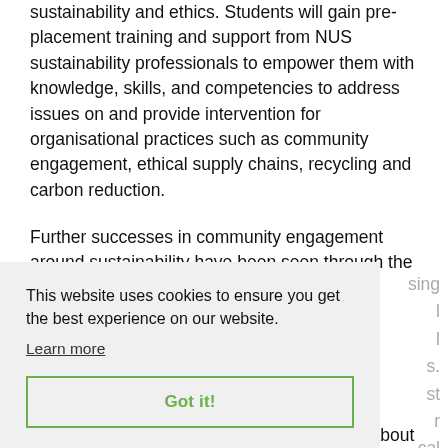sustainability and ethics. Students will gain pre-placement training and support from NUS sustainability professionals to empower them with knowledge, skills, and competencies to address issues on and provide intervention for organisational practices such as community engagement, ethical supply chains, recycling and carbon reduction.
Further successes in community engagement around sustainability have been seen through the innovative My World My Home project run by Friend of the Earth
This website uses cookies to ensure you get the best experience on our website.
Learn more
Got it!
feeling of young people in further education about